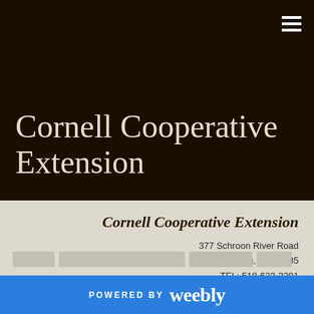Cornell Cooperative Extension
Cornell Cooperative Extension
377 Schroon River Road
Warrensburg, NY 12885
TEL: 518-623-3291
FAX: 518-668-4912
warren@cornell.edu
POWERED BY weebly